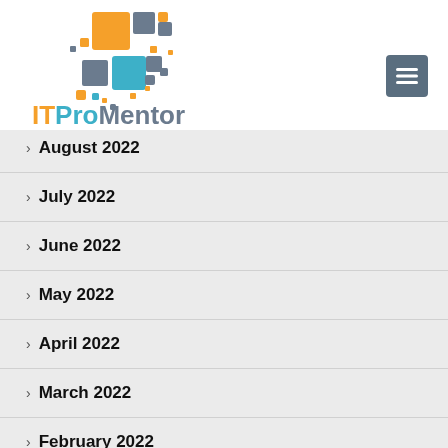[Figure (logo): ITProMentor logo with colorful pixel squares in orange, gray, blue, and teal, with the text ITProMentor below]
August 2022
July 2022
June 2022
May 2022
April 2022
March 2022
February 2022
January 2022
December 2021